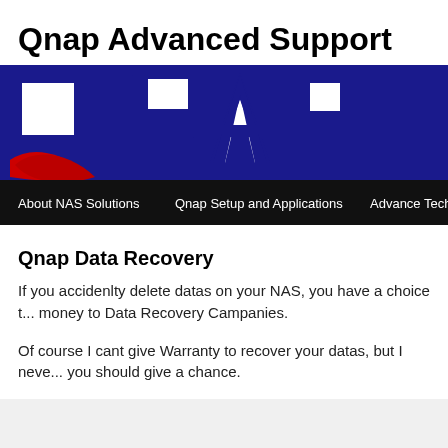Qnap Advanced Support
[Figure (logo): QNAP logo with red swoosh and white letter cutouts on blue background, followed by navigation bar with About NAS Solutions, Qnap Setup and Applications, Advance Tech]
Qnap Data Recovery
If you accidenlty delete datas on your NAS, you have a choice t... money to Data Recovery Campanies.
Of course I cant give Warranty to recover your datas, but I neve... you should give a chance.